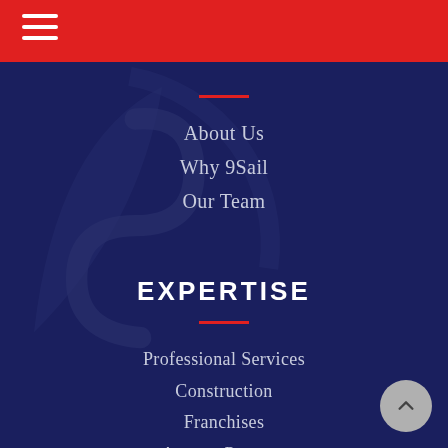[Figure (logo): Red top navigation bar with white hamburger menu icon on the left]
[Figure (illustration): Dark navy background with faint watermark logo of 9Sail compass/sail design]
About Us
Why 9Sail
Our Team
EXPERTISE
Professional Services
Construction
Franchises
Agency Partners